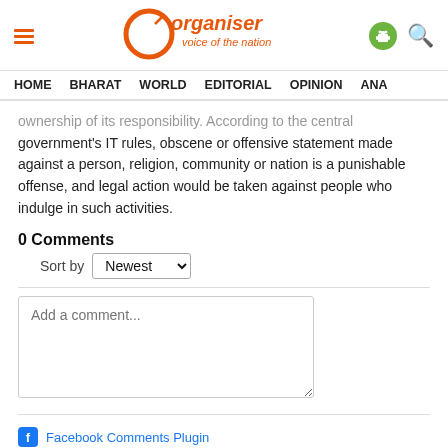Organiser – voice of the nation
HOME  BHARAT  WORLD  EDITORIAL  OPINION  ANA
ownership of its responsibility. According to the central government's IT rules, obscene or offensive statement made against a person, religion, community or nation is a punishable offense, and legal action would be taken against people who indulge in such activities.
0 Comments
Sort by Newest
Add a comment...
Facebook Comments Plugin